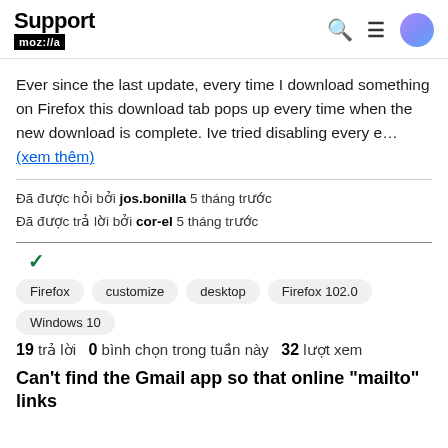Support mozilla:// [search icon] [menu icon] [avatar]
Ever since the last update, every time I download something on Firefox this download tab pops up every time when the new download is complete. Ive tried disabling every e... (xem thêm)
Đã được hỏi bởi jos.bonilla 5 tháng trước
Đã được trả lời bởi cor-el 5 tháng trước
[Figure (other): Green checkmark indicating resolved/answered question]
Firefox
customize
desktop
Firefox 102.0
Windows 10
19 trả lời  0 bình chọn trong tuần này  32 lượt xem
Can't find the Gmail app so that online "mailto" links